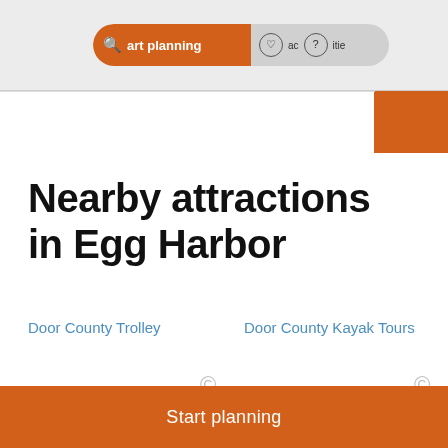Start planning | places | activities
Nearby attractions in Egg Harbor
[Figure (screenshot): Door County Trolley image placeholder with alt text link]
[Figure (screenshot): Door County Kayak Tours image placeholder with alt text link]
NIGHTLIFE
BIKE TOUR
Start planning